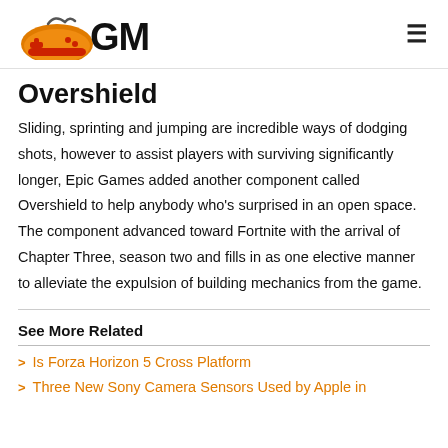GM (GamersMark logo)
Overshield
Sliding, sprinting and jumping are incredible ways of dodging shots, however to assist players with surviving significantly longer, Epic Games added another component called Overshield to help anybody who’s surprised in an open space. The component advanced toward Fortnite with the arrival of Chapter Three, season two and fills in as one elective manner to alleviate the expulsion of building mechanics from the game.
See More Related
Is Forza Horizon 5 Cross Platform
Three New Sony Camera Sensors Used by Apple in